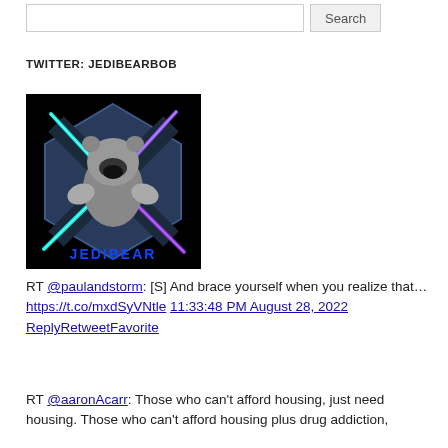[Figure (screenshot): Search bar with text input field and Search button]
TWITTER: JEDIBEARBOB
[Figure (illustration): Profile image for JediBearBob showing a bear/gorilla holding lightsabers in Star Wars style with the text JEDIBEAR at the bottom]
RT @paulandstorm: [S] And brace yourself when you realize that… https://t.co/mxdSyVNtle 11:33:48 PM August 28, 2022 ReplyRetweetFavorite
RT @aaronAcarr: Those who can't afford housing, just need housing. Those who can't afford housing plus drug addiction,